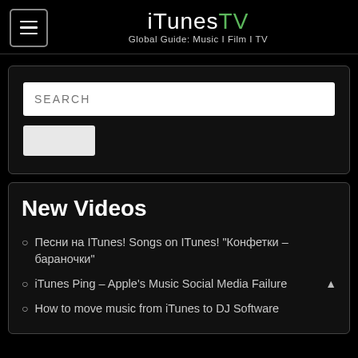iTunesTV — Global Guide: Music I Film I TV
[Figure (screenshot): Search input box with SEARCH placeholder text and a submit button below it, on dark background with rounded border]
New Videos
Песни на ITunes! Songs on ITunes! “Конфетки – бараночки”
iTunes Ping – Apple's Music Social Media Failure
How to move music from iTunes to DJ Software